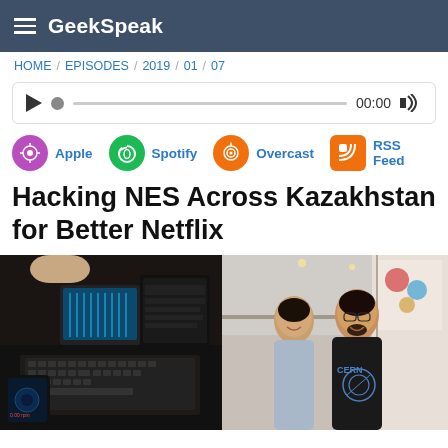GeekSpeak
HOME / EPISODES / 2019 / 01 / 07
[Figure (other): Audio player widget with play button, scrubber bar, timestamp 00:00, and volume icon]
[Figure (other): Podcast subscription links: Apple, Spotify, Overcast, RSS Feed with colored circular icons]
Hacking NES Across Kazakhstan for Better Netflix
[Figure (photo): Photo of electronics/hacking setup on a desk with keyboard, smartphone, and networking devices]
[Figure (photo): Photo of two people smiling together, man wearing a CERN t-shirt, in a colorful office space]